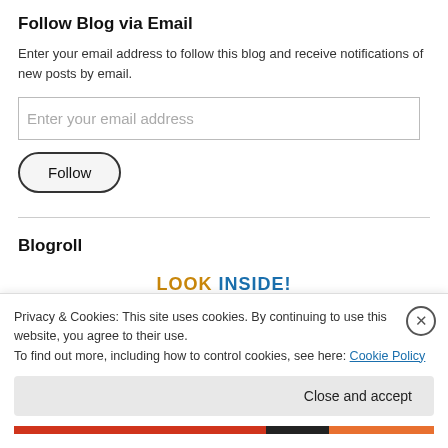Follow Blog via Email
Enter your email address to follow this blog and receive notifications of new posts by email.
Enter your email address
Follow
Blogroll
LOOK INSIDE!
Privacy & Cookies: This site uses cookies. By continuing to use this website, you agree to their use.
To find out more, including how to control cookies, see here: Cookie Policy
Close and accept